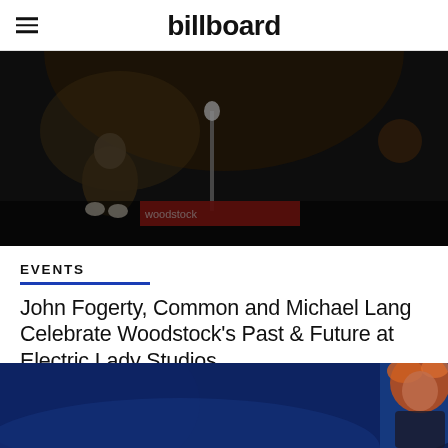billboard
[Figure (photo): Dark concert/event photo showing performers or speakers on stage, partially cropped at the top of the page]
EVENTS
John Fogerty, Common and Michael Lang Celebrate Woodstock's Past & Future at Electric Lady Studios
By Hilary Hughes
Mar 19, 2019 11:52 pm
[Figure (photo): Photo of a performer with reddish hair on a blue-lit stage, partially visible at the bottom of the page]